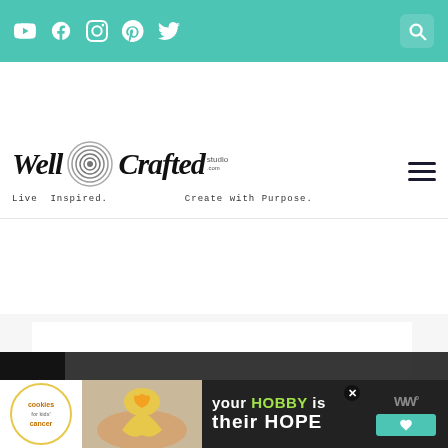Social media icons: YouTube, Facebook, Instagram, Pinterest, Twitter. Search icon.
[Figure (logo): Well Crafted Studio logo with concentric circle graphic. Tagline: Live Inspired. Create with Purpose.]
[Figure (screenshot): Main content area of wellcraftedstudio.com showing white content block on grey background, heart/like button with count of 1, share button, and What's Next panel showing 'How to Use Cricut Desig...' article]
WHAT'S NEXT → How to Use Cricut Desig...
1
[Figure (infographic): Advertisement banner: 'cookies for kids cancer' logo, hands holding a heart-shaped cookie, text 'your HOBBY is their HOPE']